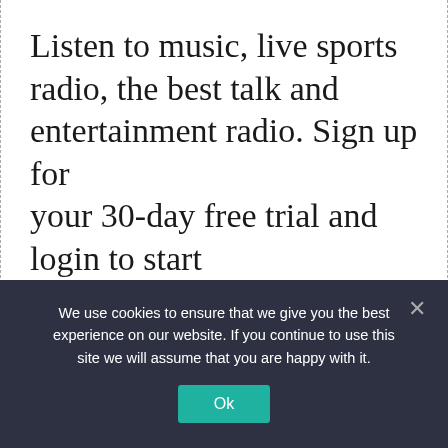Listen to music, live sports radio, the best talk and entertainment radio. Sign up for your 30-day free trial and login to start
We use cookies to ensure that we give you the best experience on our website. If you continue to use this site we will assume that you are happy with it.